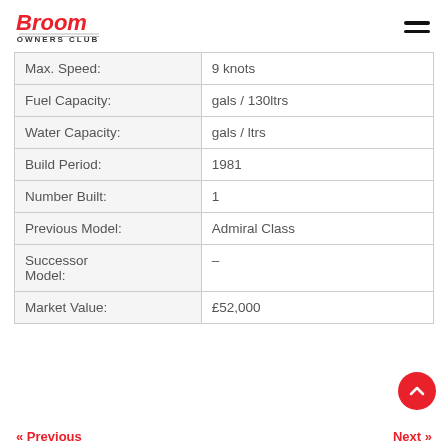Broom Owners Club
| Attribute | Value |
| --- | --- |
| Max. Speed: | 9 knots |
| Fuel Capacity: | gals / 130ltrs |
| Water Capacity: | gals / ltrs |
| Build Period: | 1981 |
| Number Built: | 1 |
| Previous Model: | Admiral Class |
| Successor Model: | – |
| Market Value: | £52,000 |
« Previous   Next »